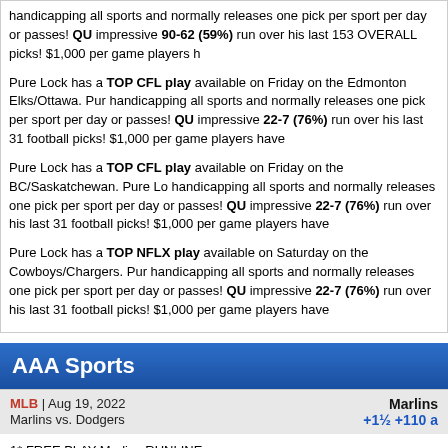handicapping all sports and normally releases one pick per sport per day or passes! QU impressive 90-62 (59%) run over his last 153 OVERALL picks! $1,000 per game players h
Pure Lock has a TOP CFL play available on Friday on the Edmonton Elks/Ottawa. Pur handicapping all sports and normally releases one pick per sport per day or passes! QU impressive 22-7 (76%) run over his last 31 football picks! $1,000 per game players have
Pure Lock has a TOP CFL play available on Friday on the BC/Saskatchewan. Pure Lo handicapping all sports and normally releases one pick per sport per day or passes! QU impressive 22-7 (76%) run over his last 31 football picks! $1,000 per game players have
Pure Lock has a TOP NFLX play available on Saturday on the Cowboys/Chargers. Pur handicapping all sports and normally releases one pick per sport per day or passes! QU impressive 22-7 (76%) run over his last 31 football picks! $1,000 per game players have
AAA Sports
MLB | Aug 19, 2022
Marlins vs. Dodgers
Marlins +1½ +110 a
1* FREE PLAY Marlins RUNLINE.
The Dodgers return home after a 4-3 road trip. LA has averaged just 2.6 runs while losi games at Milwaukee most recently. Tyler Anderson is 13-2 with a 2.81 ERA for the Dodg in six starts vs. the Marlins. I look for Jesus Luzardo of the Marlins, who is 3-5 with a 3.72 inning today (and that's based on the fact that he's been as solid as he's been all seas last 3 starts, going at least 5 innings in each.) I think Miami and Luzardo catch the Do Marlins on the runline Friday!